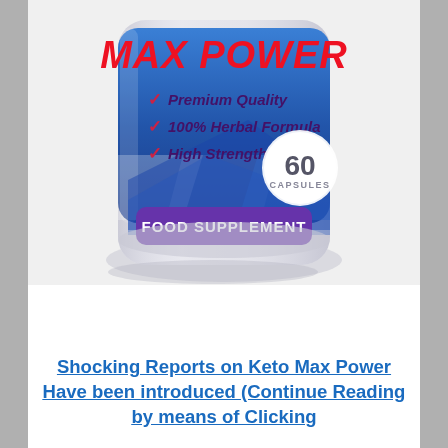[Figure (photo): Product bottle labeled 'MAX POWER' with checkmarks listing 'Premium Quality', '100% Herbal Formula', 'High Strength', a circle badge showing '60 CAPSULES', and a purple banner reading 'FOOD SUPPLEMENT'. The bottle has a white/grey body with blue and purple label design.]
Shocking Reports on Keto Max Power Have been introduced (Continue Reading by means of Clicking